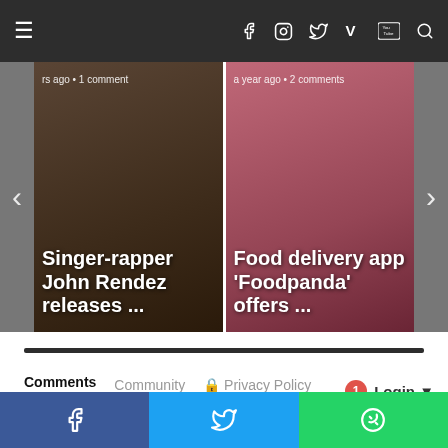≡  f  ○  🐦  V  You  🔍
[Figure (screenshot): Slider card left: Singer-rapper John Rendez releases ... (years ago • 1 comment)]
[Figure (screenshot): Slider card right: Food delivery app 'Foodpanda' offers ... (a year ago • 2 comments)]
Comments   Community   🔒 Privacy Policy
1  Login ▾
♡ Favorite
Sort by Best ▾
f    🐦    WhatsApp